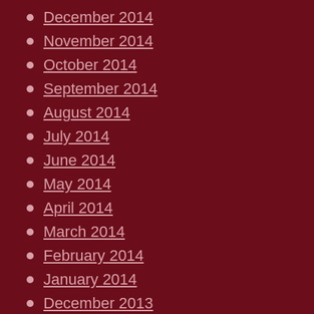December 2014
November 2014
October 2014
September 2014
August 2014
July 2014
June 2014
May 2014
April 2014
March 2014
February 2014
January 2014
December 2013
January 2013
July 2012
June 2012
April 2012